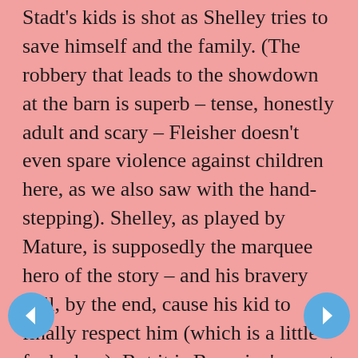Stadt's kids is shot as Shelley tries to save himself and the family. (The robbery that leads to the showdown at the barn is superb – tense, honestly adult and scary – Fleisher doesn't even spare violence against children here, as we also saw with the hand-stepping). Shelley, as played by Mature, is supposedly the marquee hero of the story – and his bravery will, by the end, cause his kid to finally respect him (which is a little fucked up). But it is Borgnine's sweet Stadt who performs the lethal, live-saving blow (I will not reveal, it is too great a moment), going against his values, his religion – making the ending more complex than one might expect. With this – violence had to be done, we suppose, but it doesn't make that man feel better (even if his kid has been shot – the kid presumably will live – but